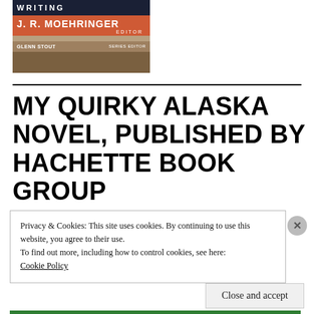[Figure (illustration): Book cover showing 'Best American Sports Writing' edited by J.R. Moehringer, with Glenn Stout as series editor. Dark blue top, orange/salmon middle band with author name, brown lower section.]
MY QUIRKY ALASKA NOVEL, PUBLISHED BY HACHETTE BOOK GROUP
[Figure (photo): Partial view of a second book cover showing warm skin/tan tones.]
Privacy & Cookies: This site uses cookies. By continuing to use this website, you agree to their use.
To find out more, including how to control cookies, see here:
Cookie Policy
Close and accept